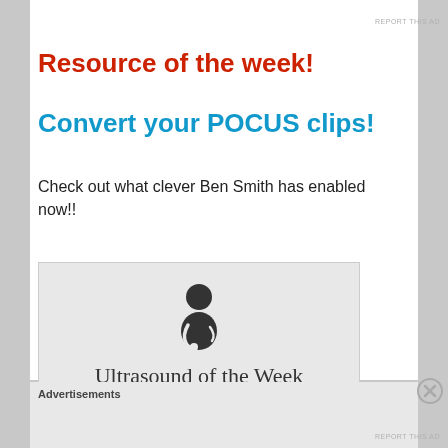REPORT THIS AD
Resource of the week!
Convert your POCUS clips!
Check out what clever Ben Smith has enabled now!!
[Figure (screenshot): Screenshot of 'Ultrasound of the Week' website showing a doctor silhouette icon, site title 'Ultrasound of the Week', subtitle 'learn bedside ultrasound, one week at a time', and navigation links: About, Subscribe, Tools]
Advertisements
REPORT THIS AD